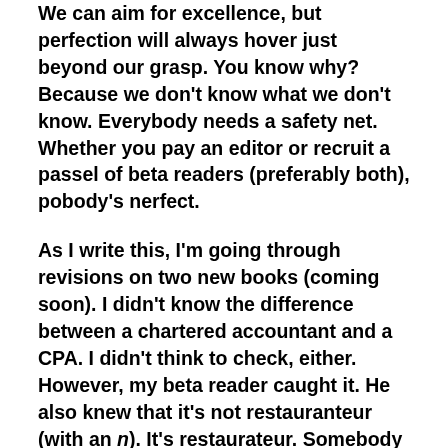We can aim for excellence, but perfection will always hover just beyond our grasp. You know why? Because we don't know what we don't know. Everybody needs a safety net. Whether you pay an editor or recruit a passel of beta readers (preferably both), pobody's nerfect.
As I write this, I'm going through revisions on two new books (coming soon). I didn't know the difference between a chartered accountant and a CPA. I didn't think to check, either. However, my beta reader caught it. He also knew that it's not restauranteur (with an n). It's restaurateur. Somebody reading this doesn't believe me because they, like me, have been spelling it incorrectly their entire lives. (For more on why the n is left out, enjoy this article from Mental Floss.)
Every time I think, Yeah, I've gone through the